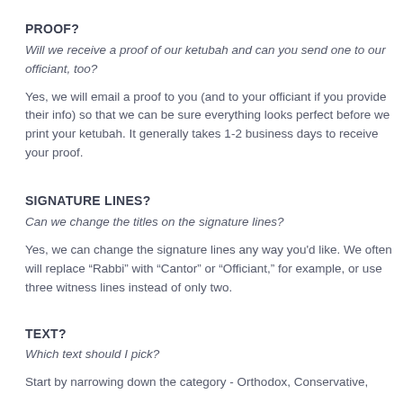PROOF?
Will we receive a proof of our ketubah and can you send one to our officiant, too?
Yes, we will email a proof to you (and to your officiant if you provide their info) so that we can be sure everything looks perfect before we print your ketubah. It generally takes 1-2 business days to receive your proof.
SIGNATURE LINES?
Can we change the titles on the signature lines?
Yes, we can change the signature lines any way you’d like. We often will replace “Rabbi” with “Cantor” or “Officiant,” for example, or use three witness lines instead of only two.
TEXT?
Which text should I pick?
Start by narrowing down the category - Orthodox, Conservative,